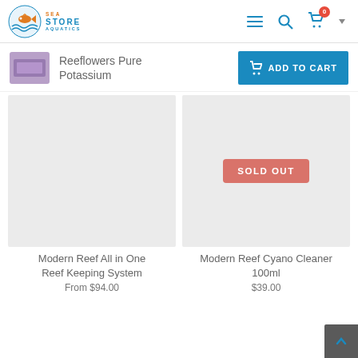[Figure (logo): Sea Store Aquatics logo with fish illustration and blue/orange text]
[Figure (screenshot): Navigation icons: hamburger menu, search magnifier, shopping cart with badge 0, and chevron]
[Figure (photo): Small product thumbnail of Reeflowers Pure Potassium]
Reeflowers Pure Potassium
[Figure (screenshot): ADD TO CART button in blue]
[Figure (photo): Product image area for Modern Reef All in One Reef Keeping System (gray placeholder)]
Modern Reef All in One Reef Keeping System
[Figure (photo): Product image area for Modern Reef Cyano Cleaner 100ml with SOLD OUT badge]
Modern Reef Cyano Cleaner 100ml